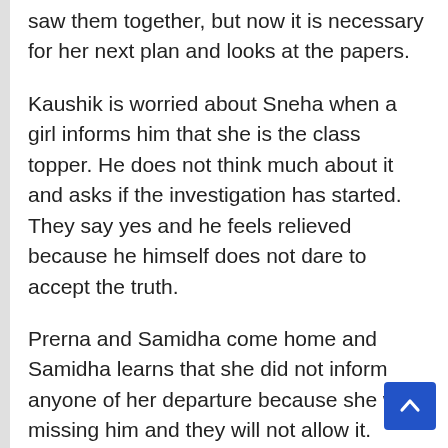saw them together, but now it is necessary for her next plan and looks at the papers.
Kaushik is worried about Sneha when a girl informs him that she is the class topper. He does not think much about it and asks if the investigation has started. They say yes and he feels relieved because he himself does not dare to accept the truth.
Prerna and Samidha come home and Samidha learns that she did not inform anyone of her departure because she was missing him and they will not allow it.
Prerna calls it bad manners and Samidha apologizes to her. She gives him some gifts including a chunari in which she was wrapped